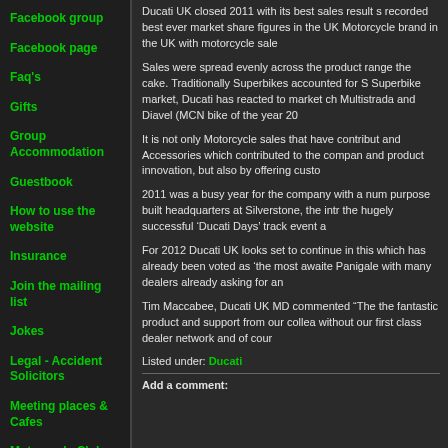Facebook group
Facebook page
Faq's
Gifts
Group Accommodation
Guestbook
How to use the website
Insurance
Join the mailing list
Jokes
Legal - Accident Solicitors
Meeting places & Cafes
Motorcycle Club links
Motorcycle Detailing
Ducati UK closed 2011 with its best sales result s recorded best ever market share figures in the UK Motorcycle brand in the UK with motorcycle sale
Sales were spread evenly across the product range the cake. Traditionally Superbikes accounted for S Superbike market, Ducati has reacted to market ch Multistrada and Diavel (MCN bike of the year 20
It is not only Motorcycle sales that have contribut and Accessories which contributed to the compan and product innovation, but also by offering custo
2011 was a busy year for the company with a num purpose built headquarters at Silverstone, the intr the hugely successful ‘Ducati Days’ track event a
For 2012 Ducati UK looks set to continue in this which has already been voted as ‘the most awaite Panigale with many dealers already asking for an
Tim Maccabee, Ducati UK MD commented “The the fantastic product and support from our collea without our first class dealer network and of cour
Listed under: Ducati
Add a comment: